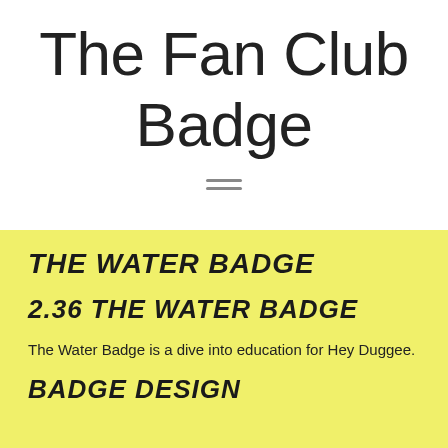The Fan Club Badge
THE WATER BADGE
2.36 THE WATER BADGE
The Water Badge is a dive into education for Hey Duggee.
BADGE DESIGN